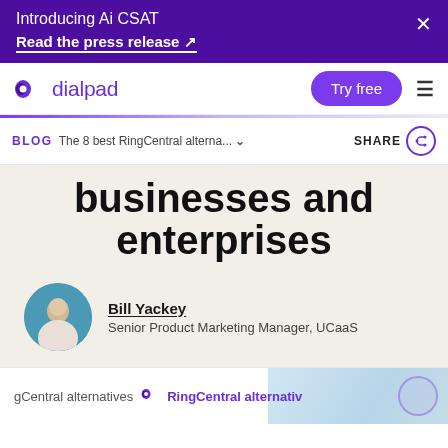Introducing Ai CSAT
Read the press release ↗
[Figure (logo): Dialpad logo with purple icon and text]
BLOG
The 8 best RingCentral alterna...
SHARE
businesses and enterprises
Bill Yackey
Senior Product Marketing Manager, UCaaS
gCentral alternatives   ◆   RingCentral alternativ